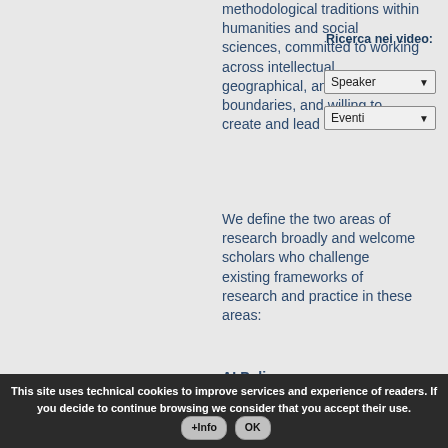methodological traditions within humanities and social sciences, committed to working across intellectual, geographical, and institutional boundaries, and willing to create and lead a new field.
We define the two areas of research broadly and welcome scholars who challenge existing frameworks of research and practice in these areas:
AI Policy: Candidates with an excellent record or promise of scholarly research, to be considered for and
Ricerca nei video:
Speaker
Eventi
This site uses technical cookies to improve services and experience of readers. If you decide to continue browsing we consider that you accept their use.